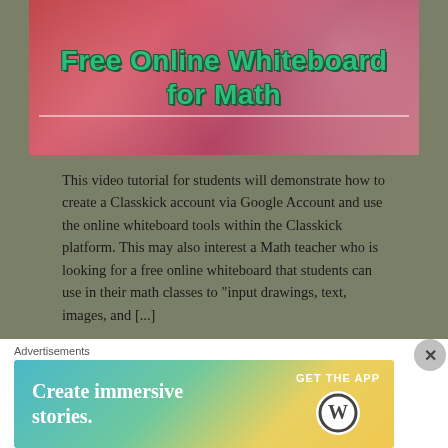[Figure (illustration): Banner image with red/pink sparkly background and bold green text reading 'Free Online Whiteboard for Math']
This video tutorial for students will demonstrate how to create a Classkick account via Google Account and use the online whiteboard tools within the Classkick platform. This may also interest a Math teacher who is looking for a free online whiteboard that students can use in their math classes to “input drawings, text, images, and [...]
YOUTUBE CHANNEL GALLERY
[Figure (screenshot): Partial teal/dark green bar indicating start of YouTube channel gallery section]
Advertisements
[Figure (illustration): Advertisement banner: 'Create immersive stories. GET THE APP' with WordPress logo, gradient background from teal to gold]